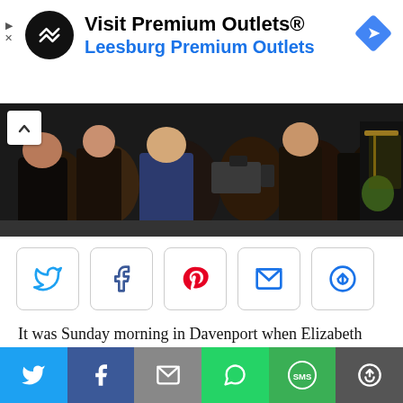[Figure (infographic): Advertisement banner for Visit Premium Outlets® - Leesburg Premium Outlets with logo, text, and navigation arrow icon]
[Figure (photo): Crowd of people at a political event, photographing something off-screen; dark indoor venue with a yellow stool visible on a stage]
[Figure (infographic): Social share buttons row: Twitter (bird), Facebook (f), Pinterest (P), Email (envelope), More (circular arrows)]
It was Sunday morning in Davenport when Elizabeth Warren was asked about her chances at being elected in a general election compared to some of the field’s more moderate candidates.
[Figure (infographic): Bottom share bar with Twitter, Facebook, Email, WhatsApp, SMS, and More buttons in colored sections]